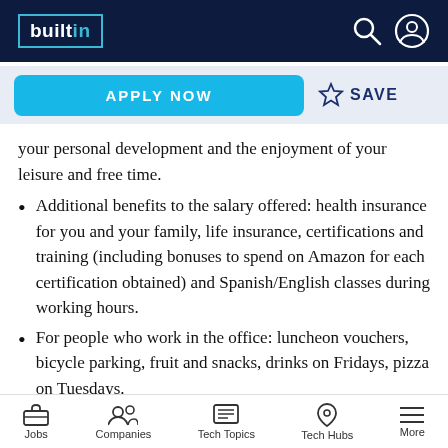builtin
your personal development and the enjoyment of your leisure and free time.
Additional benefits to the salary offered: health insurance for you and your family, life insurance, certifications and training (including bonuses to spend on Amazon for each certification obtained) and Spanish/English classes during working hours.
For people who work in the office: luncheon vouchers, bicycle parking, fruit and snacks, drinks on Fridays, pizza on Tuesdays.
Jobs  Companies  Tech Topics  Tech Hubs  More